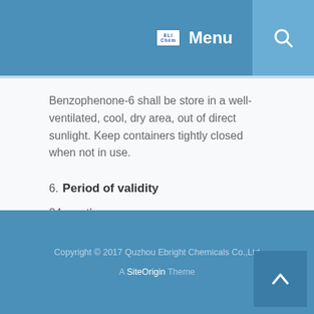Menu
Benzophenone-6 shall be store in a well-ventilated, cool, dry area, out of direct sunlight. Keep containers tightly closed when not in use.
6. Period of validity
24 months
Copyright © 2017 Quzhou Ebright Chemicals Co.,Ltd
A SiteOrigin Theme